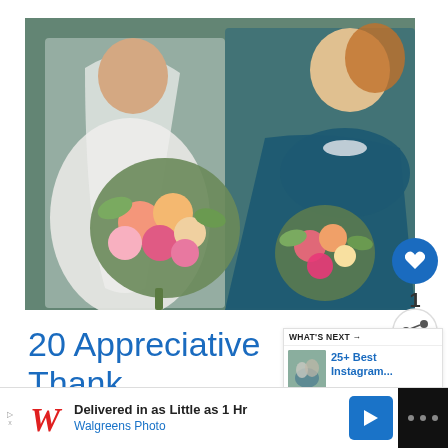[Figure (photo): A bride in a white dress and veil holding a large colorful bouquet of pink, orange, and peach flowers with greenery, standing next to a bridesmaid in a teal/navy strapless dress also holding a floral bouquet. The two women are facing each other and smiling.]
1
20 Appreciative Thank Notes to Your Bridesmaids
WHAT'S NEXT → 25+ Best Instagram...
Delivered in as Little as 1 Hr
Walgreens Photo